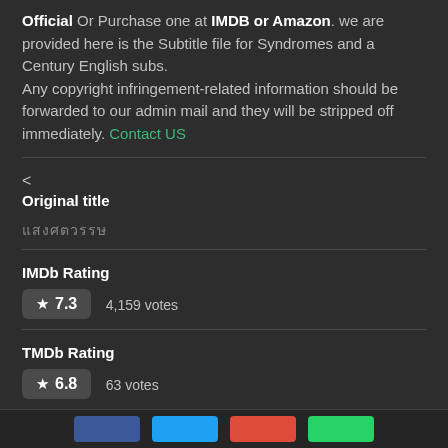Official Or Purchase one at IMDB or Amazon. we are provided here is the Subtitle file for Syndromes and a Century English subs. Any copyright infringement-related information should be forwarded to our admin mail and they will be stripped off immediately. Contact US
< Original title
แสงศตวรรษ
IMDb Rating ★ 7.3  4,159 votes
TMDb Rating ★ 6.8  63 votes